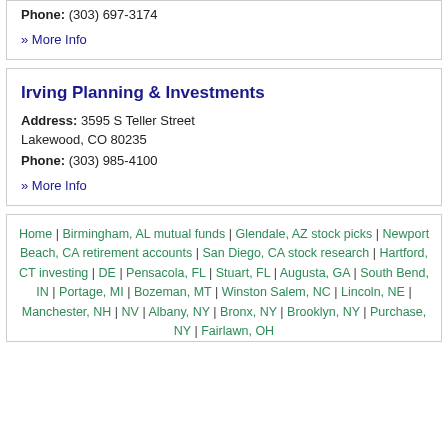Phone: (303) 697-3174
» More Info
Irving Planning & Investments
Address: 3595 S Teller Street Lakewood, CO 80235
Phone: (303) 985-4100
» More Info
Home | Birmingham, AL mutual funds | Glendale, AZ stock picks | Newport Beach, CA retirement accounts | San Diego, CA stock research | Hartford, CT investing | DE | Pensacola, FL | Stuart, FL | Augusta, GA | South Bend, IN | Portage, MI | Bozeman, MT | Winston Salem, NC | Lincoln, NE | Manchester, NH | NV | Albany, NY | Bronx, NY | Brooklyn, NY | Purchase, NY | Fairlawn, OH